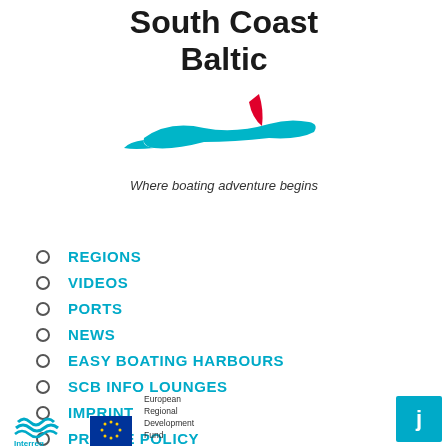[Figure (logo): South Coast Baltic logo with teal sailboat hand shape and red sail, tagline 'Where boating adventure begins']
REGIONS
VIDEOS
PORTS
NEWS
EASY BOATING HARBOURS
SCB INFO LOUNGES
IMPRINT
PRIVATE POLICY
[Figure (logo): Interreg logo, EU flag logo, European Regional Development Fund text, and Joomla icon in teal box]